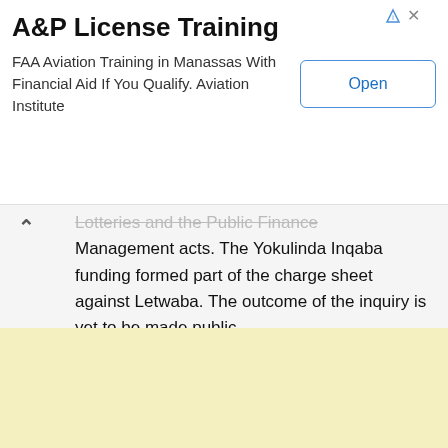[Figure (other): Advertisement banner: A&P License Training. FAA Aviation Training in Manassas With Financial Aid If You Qualify. Aviation Institute. Open button.]
Lotteries and the Public Finance Management acts. The Yokulinda Inqaba funding formed part of the charge sheet against Letwaba. The outcome of the inquiry is yet to be made public.
Letwaba is one of several other people who were named as respondents in the SIU's application for the preservation order. Also named as respondents were former Athletics SA President Aleck Skhosana, Marubini Ramatsekisi, NLC Commissioner Thabana...
[Figure (other): Yellow/cream colored advertisement placeholder block at the bottom of the page.]